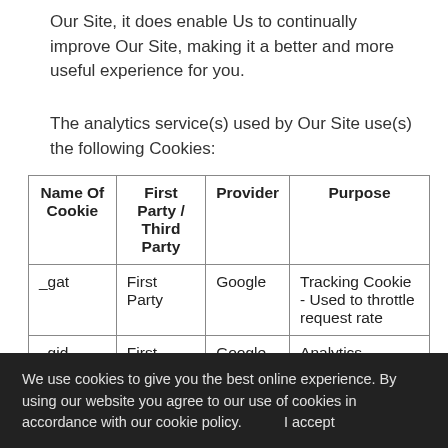Our Site, it does enable Us to continually improve Our Site, making it a better and more useful experience for you.
The analytics service(s) used by Our Site use(s) the following Cookies:
| Name Of Cookie | First Party / Third Party | Provider | Purpose |
| --- | --- | --- | --- |
| _gat | First Party | Google | Tracking Cookie - Used to throttle request rate |
| _gid | First | Google | Analytics Tracking |
We use cookies to give you the best online experience. By using our website you agree to our use of cookies in accordance with our cookie policy.      I accept